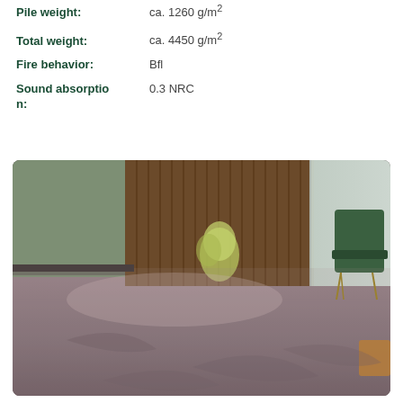Pile weight: ca. 1260 g/m²
Total weight: ca. 4450 g/m²
Fire behavior: Bfl
Sound absorption: 0.3 NRC
[Figure (photo): Interior room scene showing a carpet floor with a green velvet chair, glass vase decorations, wooden slat panels, and large frosted glass windows. The carpet has a textured, looped pile in a muted mauve/purple-brown tone with subtle leaf-like shadow patterns.]